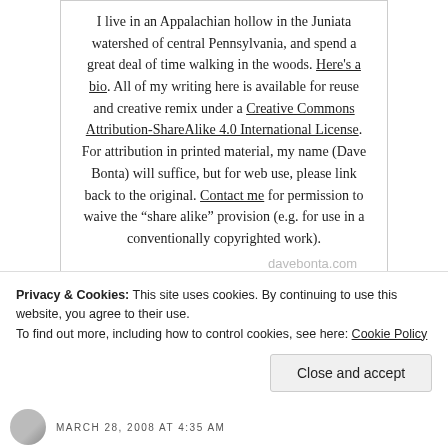I live in an Appalachian hollow in the Juniata watershed of central Pennsylvania, and spend a great deal of time walking in the woods. Here's a bio. All of my writing here is available for reuse and creative remix under a Creative Commons Attribution-ShareAlike 4.0 International License. For attribution in printed material, my name (Dave Bonta) will suffice, but for web use, please link back to the original. Contact me for permission to waive the “share alike” provision (e.g. for use in a conventionally copyrighted work).
davebonta.com
[Figure (other): Social media icons: Twitter, Instagram, Facebook, Vimeo]
Privacy & Cookies: This site uses cookies. By continuing to use this website, you agree to their use.
To find out more, including how to control cookies, see here: Cookie Policy
Close and accept
MARCH 28, 2008 AT 4:35 AM